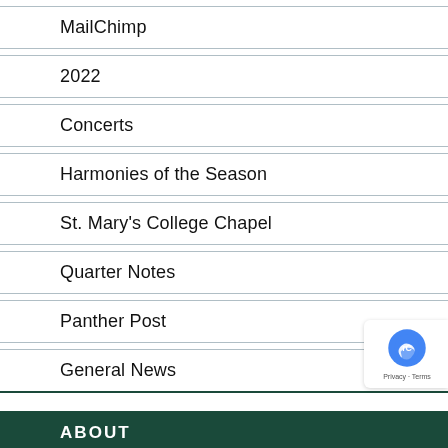MailChimp
2022
Concerts
Harmonies of the Season
St. Mary's College Chapel
Quarter Notes
Panther Post
General News
ABOUT
Capital Campaign
Mission